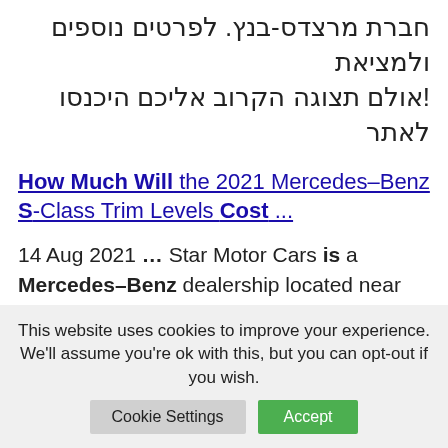חברת מרצדס-בנץ. לפרטים נוספים ולמציאת אולם תצוגה הקרוב אליכם היכנסו לאתר!
How Much Will the 2021 Mercedes–Benz S-Class Trim Levels Cost ...
14 Aug 2021 ... Star Motor Cars is a Mercedes–Benz dealership located near Houston Texas. We're here to help with any automotive needs you may have.
2021 Mercedes–Benz S-Class Pricing
This website uses cookies to improve your experience. We'll assume you're ok with this, but you can opt-out if you wish.